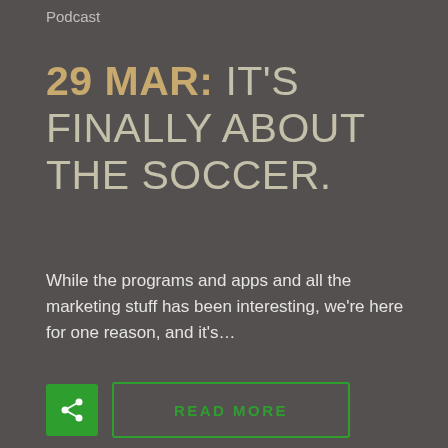Podcast
29 MAR: IT'S FINALLY ABOUT THE SOCCER.
While the programs and apps and all the marketing stuff has been interesting, we're here for one reason, and it's…
[Figure (screenshot): Share button (green square with share icon) and READ MORE button (green outlined rectangle)]
[Figure (photo): Partial podcast logo image showing curved text 'IS IS Sil' on a tan/grey background, partially cropped]